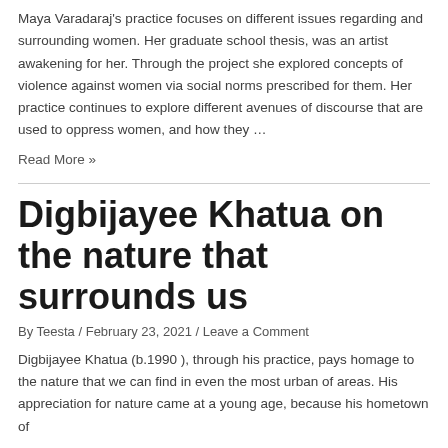Maya Varadaraj's practice focuses on different issues regarding and surrounding women. Her graduate school thesis, was an artist awakening for her. Through the project she explored concepts of violence against women via social norms prescribed for them. Her practice continues to explore different avenues of discourse that are used to oppress women, and how they …
Read More »
Digbijayee Khatua on the nature that surrounds us
By Teesta / February 23, 2021 / Leave a Comment
Digbijayee Khatua (b.1990 ), through his practice, pays homage to the nature that we can find in even the most urban of areas. His appreciation for nature came at a young age, because his hometown of